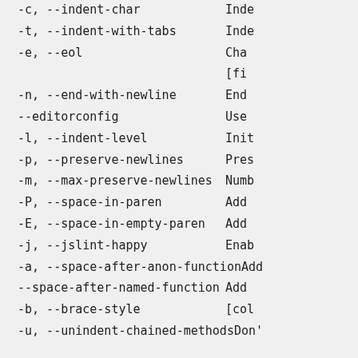-c, --indent-char    Inde
-t, --indent-with-tabs    Inde
-e, --eol    Cha
[fi
-n, --end-with-newline    End
--editorconfig    Use
-l, --indent-level    Init
-p, --preserve-newlines    Pres
-m, --max-preserve-newlines    Numb
-P, --space-in-paren    Add
-E, --space-in-empty-paren    Add
-j, --jslint-happy    Enab
-a, --space-after-anon-function    Add
--space-after-named-function    Add
-b, --brace-style    [col
-u, --unindent-chained-methods    Don'